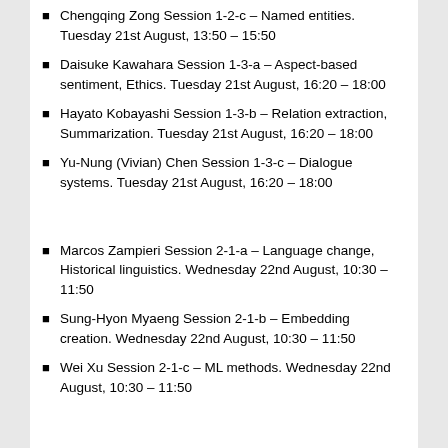Chengqing Zong Session 1-2-c – Named entities. Tuesday 21st August, 13:50 – 15:50
Daisuke Kawahara Session 1-3-a – Aspect-based sentiment, Ethics. Tuesday 21st August, 16:20 – 18:00
Hayato Kobayashi Session 1-3-b – Relation extraction, Summarization. Tuesday 21st August, 16:20 – 18:00
Yu-Nung (Vivian) Chen Session 1-3-c – Dialogue systems. Tuesday 21st August, 16:20 – 18:00
Marcos Zampieri Session 2-1-a – Language change, Historical linguistics. Wednesday 22nd August, 10:30 – 11:50
Sung-Hyon Myaeng Session 2-1-b – Embedding creation. Wednesday 22nd August, 10:30 – 11:50
Wei Xu Session 2-1-c – ML methods. Wednesday 22nd August, 10:30 – 11:50